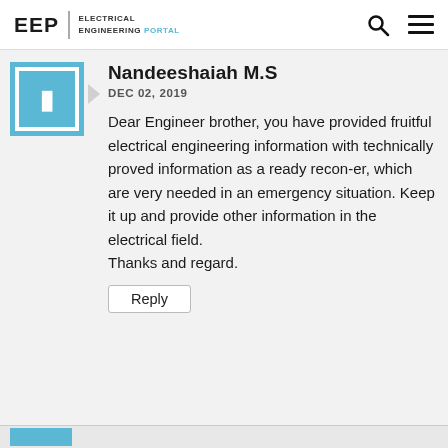EEP | ELECTRICAL ENGINEERING PORTAL
Nandeeshaiah M.S
DEC 02, 2019
Dear Engineer brother, you have provided fruitful electrical engineering information with technically proved information as a ready recon-er, which are very needed in an emergency situation. Keep it up and provide other information in the electrical field.
Thanks and regard.
Reply